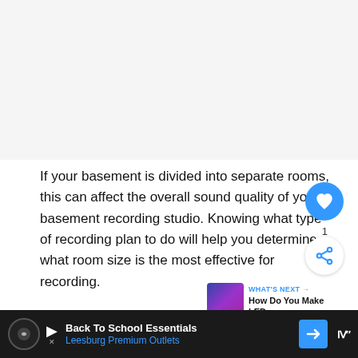[Figure (photo): Light gray placeholder area representing an image at the top of the page]
If your basement is divided into separate rooms, this can affect the overall sound quality of your basement recording studio. Knowing what type of recording plan to do will help you determine what room size is the most effective for recording.
Recording in an inappropriately sized room can ne... s
[Figure (infographic): WHAT'S NEXT arrow label with thumbnail showing LED lights and text 'How Do You Make LED...']
[Figure (infographic): Bottom advertisement bar: Back To School Essentials - Leesburg Premium Outlets with app icons and Samsung logo]